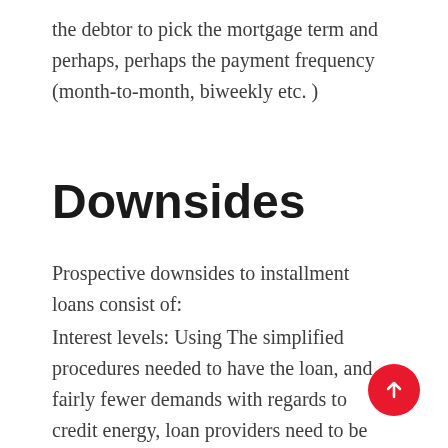the debtor to pick the mortgage term and perhaps, perhaps the payment frequency (month-to-month, biweekly etc. )
Downsides
Prospective downsides to installment loans consist of:
Interest levels: Using The simplified procedures needed to have the loan, and fairly fewer demands with regards to credit energy, loan providers need to be paid when it comes to additional danger they simply simply take in financing to borrowers with an installment loan structure. This leads to greater rates of interest.